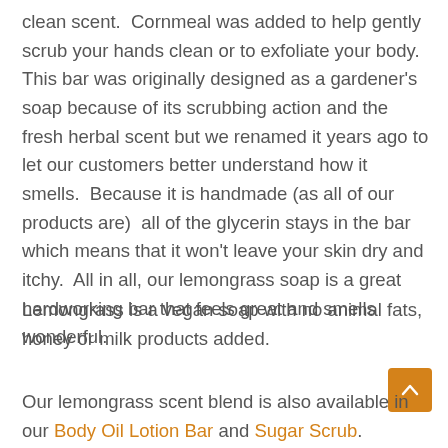clean scent.  Cornmeal was added to help gently scrub your hands clean or to exfoliate your body. This bar was originally designed as a gardener's soap because of its scrubbing action and the fresh herbal scent but we renamed it years ago to let our customers better understand how it smells.  Because it is handmade (as all of our products are)  all of the glycerin stays in the bar which means that it won't leave your skin dry and itchy.  All in all, our lemongrass soap is a great hardworking bar that feels great and smells wonderful.
Lemongrass is a vegan soap with no animal fats, honey or milk products added.
Our lemongrass scent blend is also available in our Body Oil Lotion Bar and Sugar Scrub.